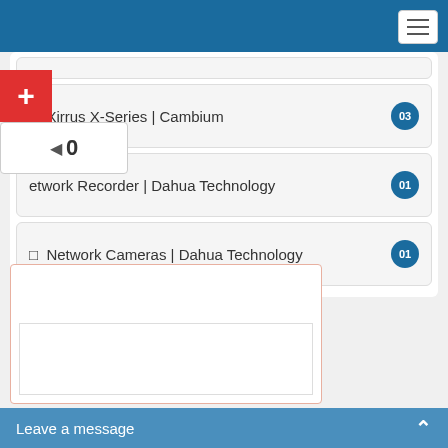[Figure (screenshot): Navigation hamburger menu button in top right corner]
Xirrus X-Series | Cambium
03
Network Recorder | Dahua Technology
01
Network Cameras | Dahua Technology
01
Leave a message